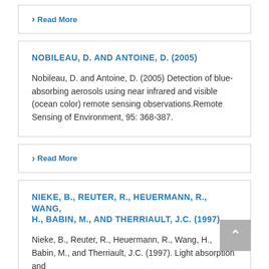› Read More
NOBILEAU, D. AND ANTOINE, D. (2005)
Nobileau, D. and Antoine, D. (2005) Detection of blue-absorbing aerosols using near infrared and visible (ocean color) remote sensing observations.Remote Sensing of Environment, 95: 368-387.
› Read More
NIEKE, B., REUTER, R., HEUERMANN, R., WANG, H., BABIN, M., AND THERRIAULT, J.C. (1997)
Nieke, B., Reuter, R., Heuermann, R., Wang, H., Babin, M., and Therriault, J.C. (1997). Light absorption and fluorescence measurements of blue-green alga and ...